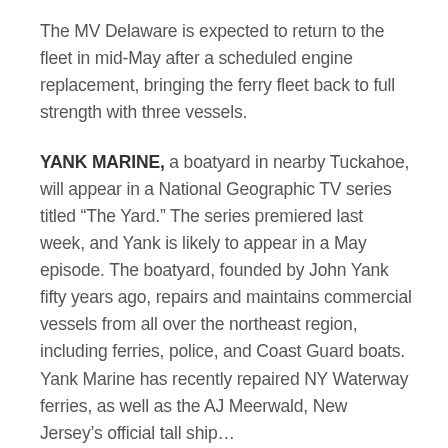The MV Delaware is expected to return to the fleet in mid-May after a scheduled engine replacement, bringing the ferry fleet back to full strength with three vessels.
YANK MARINE, a boatyard in nearby Tuckahoe, will appear in a National Geographic TV series titled “The Yard.” The series premiered last week, and Yank is likely to appear in a May episode. The boatyard, founded by John Yank fifty years ago, repairs and maintains commercial vessels from all over the northeast region, including ferries, police, and Coast Guard boats. Yank Marine has recently repaired NY Waterway ferries, as well as the AJ Meerwald, New Jersey’s official tall ship…